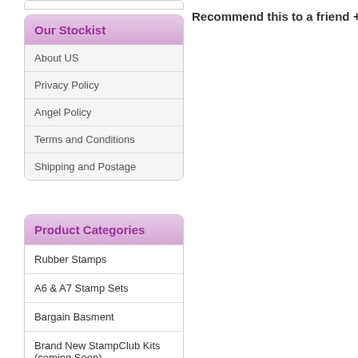Recommend this to a friend +
Our Stockist
About US
Privacy Policy
Angel Policy
Terms and Conditions
Shipping and Postage
Product Categories
Rubber Stamps
A6 & A7 Stamp Sets
Bargain Basment
Brand New StampClub Kits (coming Soon)
Crafting CD ROMS
Crafty Cutters Dies